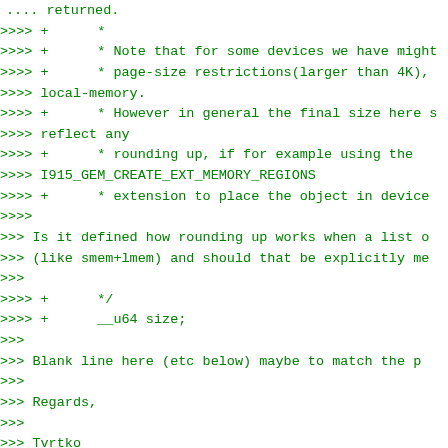.... returned.
>>>> +      *
>>>> +      * Note that for some devices we have might
>>>> +      * page-size restrictions(larger than 4K),
>>>> local-memory.
>>>> +      * However in general the final size here s
>>>> reflect any
>>>> +      * rounding up, if for example using the
>>>> I915_GEM_CREATE_EXT_MEMORY_REGIONS
>>>> +      * extension to place the object in device
>>>>
>>> Is it defined how rounding up works when a list o
>>> (like smem+lmem) and should that be explicitly me
>>>
>>>> +      */
>>>> +      __u64 size;
>>>
>>> Blank line here (etc below) maybe to match the p
>>>
>>> Regards,
>>>
>>> Tvrtko
>>>
>>>> +      /**
>>>> +      * @handle: Returned handle for the object
>>>> +      *
>>>> +      * Object handles are nonzero.
>>>> +      */
>>>> +      __u32 handle;
>>>> +      /**
>>>> +      * @flags: Optional flags.
>>>> +      *